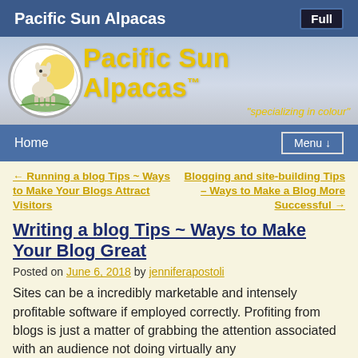Pacific Sun Alpacas | Full
[Figure (logo): Pacific Sun Alpacas banner with alpaca logo and yellow text reading 'Pacific Sun Alpacas™' and tagline 'specializing in colour']
Home | Menu ↓
← Running a blog Tips ~ Ways to Make Your Blogs Attract Visitors
Blogging and site-building Tips – Ways to Make a Blog More Successful →
Writing a blog Tips ~ Ways to Make Your Blog Great
Posted on June 6, 2018 by jenniferapostoli
Sites can be a incredibly marketable and intensely profitable software if employed correctly. Profiting from blogs is just a matter of grabbing the attention associated with an audience not doing virtually any